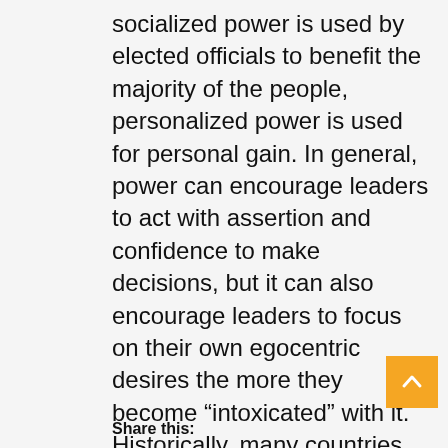socialized power is used by elected officials to benefit the majority of the people, personalized power is used for personal gain. In general, power can encourage leaders to act with assertion and confidence to make decisions, but it can also encourage leaders to focus on their own egocentric desires the more they become “intoxicated” with it. Historically, many countries have seen dictators, tyrants, and totalitarian or authoritarian rulers. But what encourages some leaders to fall into this power-hunger behavior pattern while others do not?
Share this: